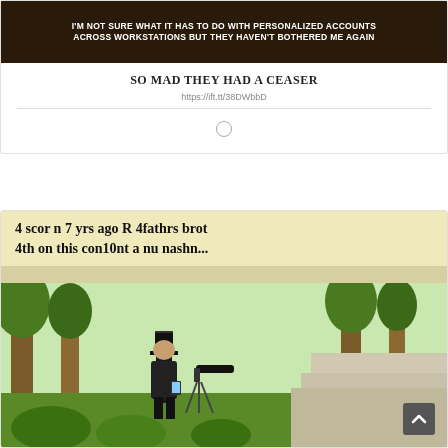[Figure (photo): Dark brown/black background meme image with white bold uppercase text: I'M NOT SURE WHAT IT HAS TO DO WITH PERSONALIZED ACCOUNTS ACROSS WORKSTATIONS BUT THEY HAVEN'T BOTHERED ME AGAIN]
SO MAD THEY HAD A CEASER
https://ift.tt/38DWbbD
[Figure (illustration): A cartoon/comic illustration showing Abraham Lincoln looking at his phone while wearing his stovepipe hat, standing in a park-like setting with trees and greenery. Caption reads: 4 scor n 7 yrs ago R 4fathrs brot 4th on this con10nt a nu nashn...]